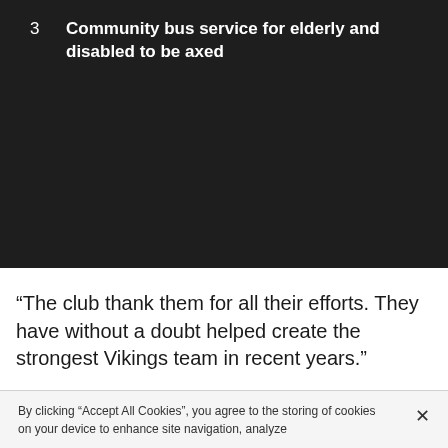3  Community bus service for elderly and disabled to be axed
“The club thank them for all their efforts. They have without a doubt helped create the strongest Vikings team in recent years.”
By clicking “Accept All Cookies”, you agree to the storing of cookies on your device to enhance site navigation, analyze